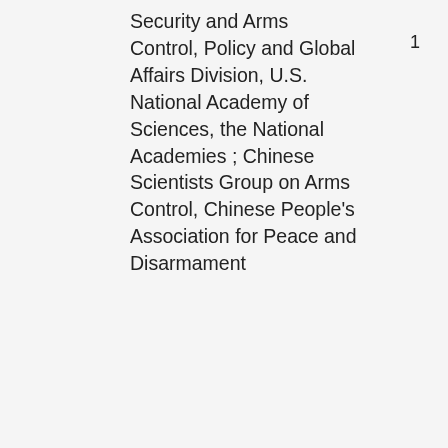Security and Arms Control, Policy and Global Affairs Division, U.S. National Academy of Sciences, the National Academies ; Chinese Scientists Group on Arms Control, Chinese People's Association for Peace and Disarmament
1